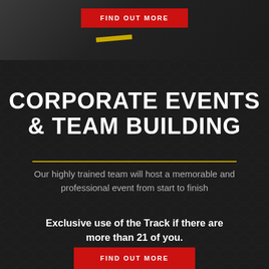[Figure (photo): Dark background with go-kart track elements visible, dark tones with a yellow/gold track line]
FIND OUT MORE
CORPORATE EVENTS & TEAM BUILDING
Our highly trained team will host a memorable and professional event from start to finish
Exclusive use of the Track if there are more than 21 of you.
FIND OUT MORE